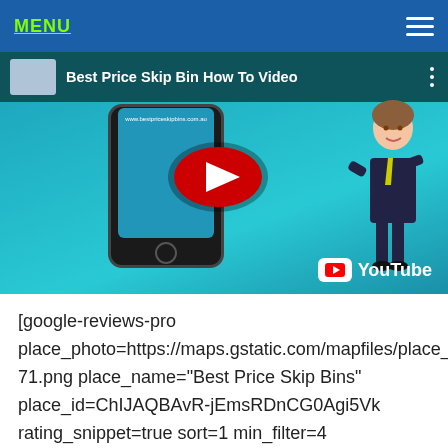MENU
[Figure (screenshot): YouTube video thumbnail titled 'Best Price Skip Bin How To Video' showing a cartoon woman holding a tablet and a smartphone with a YouTube play button overlay, on a teal background with YouTube logo.]
[google-reviews-pro place_photo=https://maps.gstatic.com/mapfiles/place_ 71.png place_name="Best Price Skip Bins" place_id=ChIJAQBAvR-jEmsRDnCG0Agi5Vk rating_snippet=true sort=1 min_filter=4 hide_photo=true disable_user_link=true